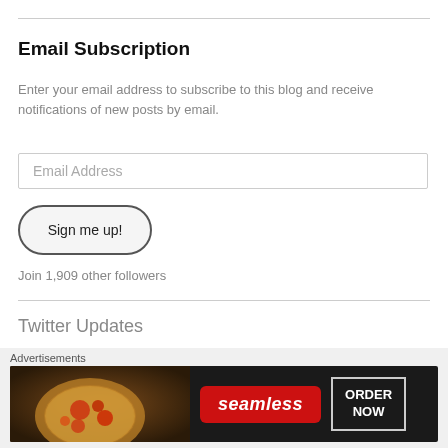Email Subscription
Enter your email address to subscribe to this blog and receive notifications of new posts by email.
Email Address
Sign me up!
Join 1,909 other followers
Twitter Updates
RT @OccupyDemocrats: BREAKING: Audio leaks of MAGA candidate
[Figure (screenshot): Seamless food delivery advertisement banner with pizza image, Seamless logo, and ORDER NOW button]
Advertisements